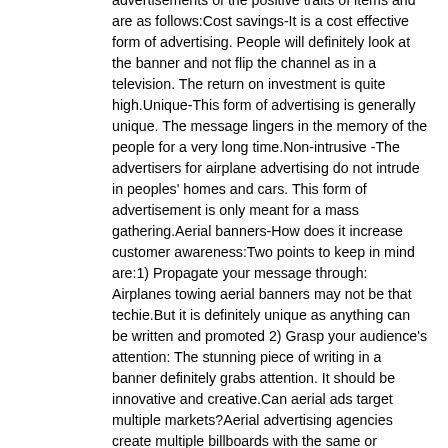advertisements of the positive traits of items and are as follows:Cost savings-It is a cost effective form of advertising. People will definitely look at the banner and not flip the channel as in a television. The return on investment is quite high.Unique-This form of advertising is generally unique. The message lingers in the memory of the people for a very long time.Non-intrusive -The advertisers for airplane advertising do not intrude in peoples' homes and cars. This form of advertisement is only meant for a mass gathering.Aerial banners-How does it increase customer awareness:Two points to keep in mind are:1) Propagate your message through: Airplanes towing aerial banners may not be that techie.But it is definitely unique as anything can be written and promoted 2) Grasp your audience's attention: The stunning piece of writing in a banner definitely grabs attention. It should be innovative and creative.Can aerial ads target multiple markets?Aerial advertising agencies create multiple billboards with the same or different message and then ship them to different regions of the country from market to market. The main aim is to do local, regional and national aerial advertising campaigns.Concept of a letter